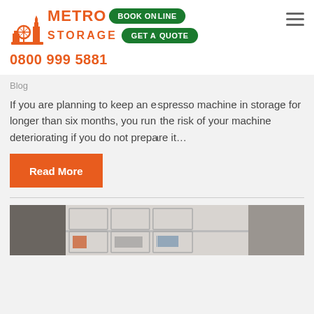[Figure (logo): Metro Storage logo with London skyline icon in orange, text METRO STORAGE in orange, with green pill-shaped buttons BOOK ONLINE and GET A QUOTE]
0800 999 5881
Blog
If you are planning to keep an espresso machine in storage for longer than six months, you run the risk of your machine deteriorating if you do not prepare it…
Read More
[Figure (photo): Photo of clear plastic storage boxes on shelves containing shoes, hats and other items]